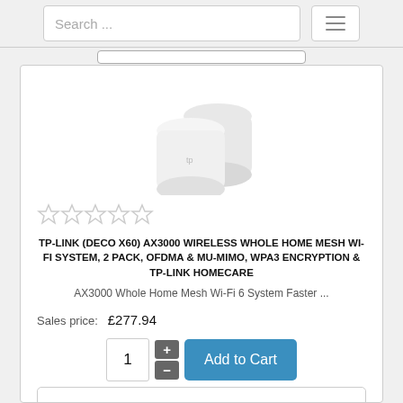Search ...
[Figure (photo): Two white cylindrical TP-Link Deco X60 mesh Wi-Fi units stacked/overlapping, shown on white background]
[Figure (other): Five empty star rating icons (no fill), indicating no ratings yet]
TP-LINK (DECO X60) AX3000 WIRELESS WHOLE HOME MESH WI-FI SYSTEM, 2 PACK, OFDMA & MU-MIMO, WPA3 ENCRYPTION & TP-LINK HOMECARE
AX3000 Whole Home Mesh Wi-Fi 6 System Faster ...
Sales price: £277.94
[Figure (screenshot): Quantity selector showing '1' with plus and minus buttons, and a teal 'Add to Cart' button]